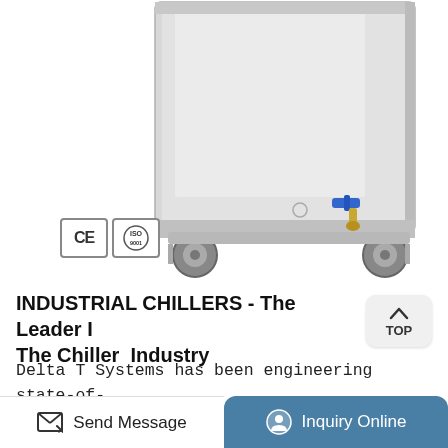[Figure (photo): Industrial chiller unit, stainless steel cabinet on wheels with a blue valve and brass fitting at the bottom center. CE and ISO certification badges visible at lower left.]
INDUSTRIAL CHILLERS - The Leader In The Chiller Industry
Delta T Systems has been engineering state-of-the-art air and water cooled chillers for a large variety of commercial applications for nearly two decades. We specialize in customer service and are dedicated to helping each customer have the
Send Message | Inquiry Online